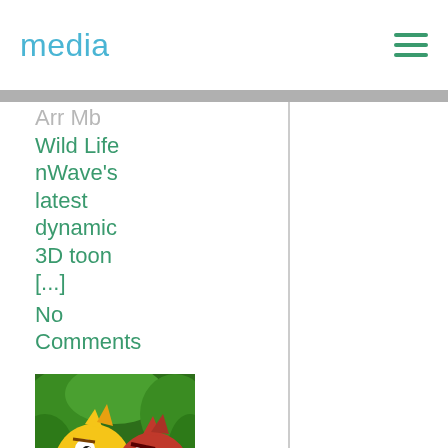media
Wild Life nWave's latest dynamic 3D toon [...]
No Comments
[Figure (photo): Angry Birds movie characters — yellow bird and red bird in colorful animated scene]
Angry Bird